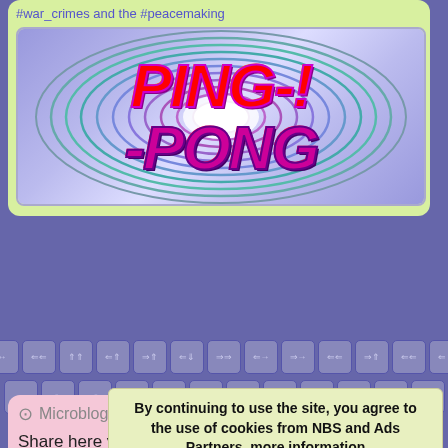#war_crimes and the #peacemaking
[Figure (illustration): PING-!-PONG logo banner with colorful italic bold text on a blue/purple concentric ellipse background]
[Figure (screenshot): On-screen keyboard with arrow and symbol keys on purple background]
Microblog | no wikipedia
Share here your pictures, your emotions, 8-links, #hashtags and back-links. 'Quack-!-Quack or Ping-!-Pong' as we call it. Every 'pong' gives
By continuing to use the site, you agree to the use of cookies from NBS and Ads Partners. more information
Accept